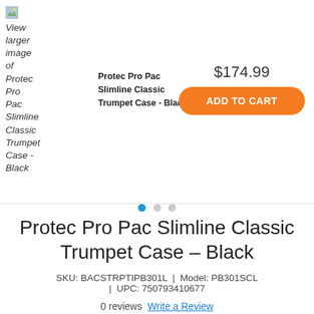[Figure (photo): Small thumbnail image placeholder with 'View larger image of Protec Pro Pac Slimline Classic Trumpet Case - Black' link text]
Protec Pro Pac Slimline Classic Trumpet Case - Black
$174.99
ADD TO CART
Protec Pro Pac Slimline Classic Trumpet Case - Black
SKU: BACSTRPTIPB301L  |  Model: PB301SCL  |  UPC: 750793410677
0 reviews  Write a Review